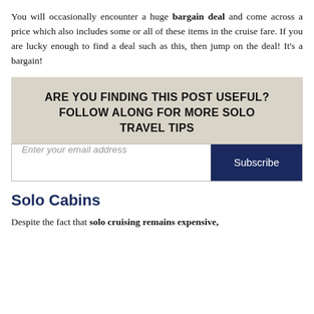You will occasionally encounter a huge bargain deal and come across a price which also includes some or all of these items in the cruise fare. If you are lucky enough to find a deal such as this, then jump on the deal! It's a bargain!
ARE YOU FINDING THIS POST USEFUL? FOLLOW ALONG FOR MORE SOLO TRAVEL TIPS
Enter your email address
Subscribe
Solo Cabins
Despite the fact that solo cruising remains expensive,